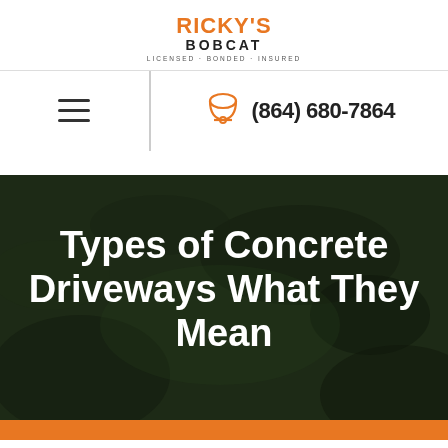[Figure (logo): Ricky's Bobcat logo with text RICKY'S in orange, BOBCAT in black, and tagline LICENSED · BONDED · INSURED]
[Figure (infographic): Navigation bar with hamburger menu icon on left and orange telephone icon with phone number (864) 680-7864 on right]
Types of Concrete Driveways What They Mean
[Figure (photo): Dark green grass background hero image with orange bar at bottom]